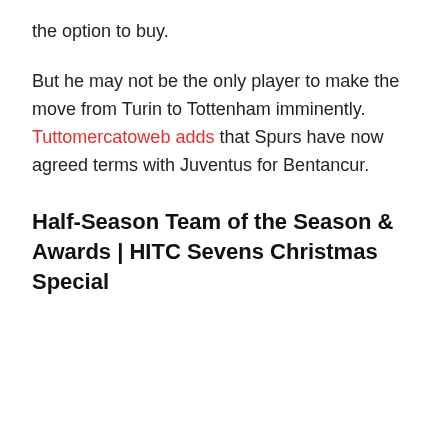the option to buy.
But he may not be the only player to make the move from Turin to Tottenham imminently. Tuttomercatoweb adds that Spurs have now agreed terms with Juventus for Bentancur.
Half-Season Team of the Season & Awards | HITC Sevens Christmas Special